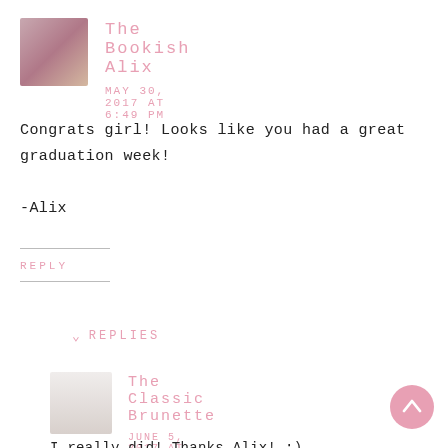The Bookish Alix
MAY 30, 2017 AT 6:49 PM
Congrats girl! Looks like you had a great graduation week!
-Alix
REPLY
REPLIES
The Classic Brunette
JUNE 5, 2017 AT 1:19 AM
I really did! Thanks Alix! :)